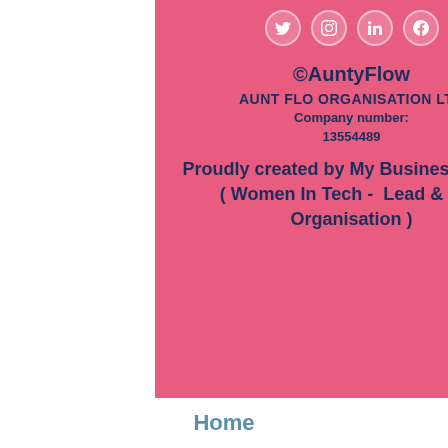[Figure (other): Social media icons row (Twitter, Instagram, LinkedIn, Facebook) in white circles on pink background]
©AuntyFlow
AUNT FLO ORGANISATION LTD
Company number:
13554489
Proudly created by My Business Online ( Women In Tech -  Lead & Run Organisation )
Home
About Us
Buy a box
Ask Aunt Flo
Work With Aunt Flo
Period News
Contact Us
[Figure (logo): MADE IN logo with red/pink rectangle]